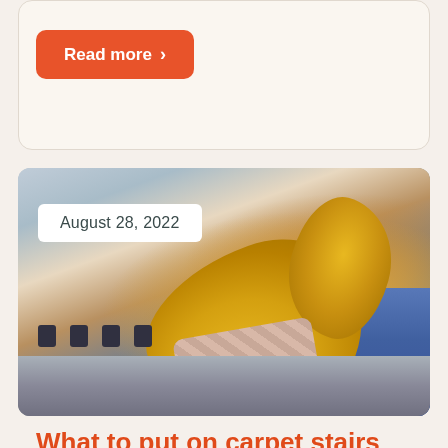Read more >
[Figure (photo): Person wearing yellow rubber gloves wiping a kitchen counter or stove surface with a cloth, holding a spray bottle]
August 28, 2022
What to put on carpet stairs to prevent slipping?